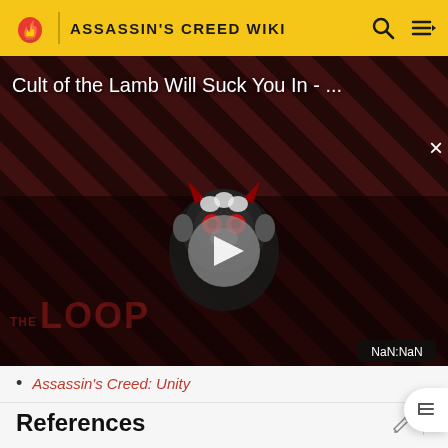ASSASSIN'S CREED WIKI
[Figure (screenshot): Video thumbnail for 'Cult of the Lamb Will Suck You In - ...' with a play button overlay, dark reddish striped background, a stylized animal character mascot, and 'THE LOOP' text watermark. NaN:NaN timestamp shown in bottom right corner.]
Assassin's Creed: Unity
References
1. ↑ Assassin's Creed: Unity – Database: Aloys La Touche